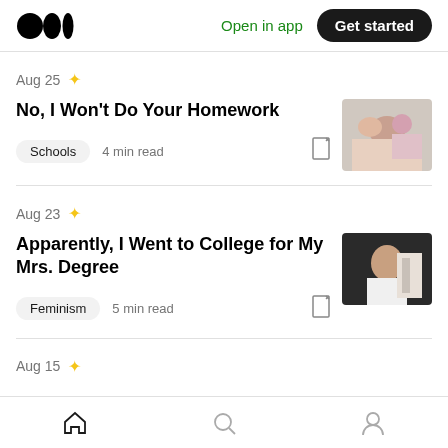Medium logo | Open in app | Get started
Aug 25 ★
No, I Won't Do Your Homework
Schools  4 min read
Aug 23 ★
Apparently, I Went to College for My Mrs. Degree
Feminism  5 min read
Aug 15 ★
Home | Search | Profile